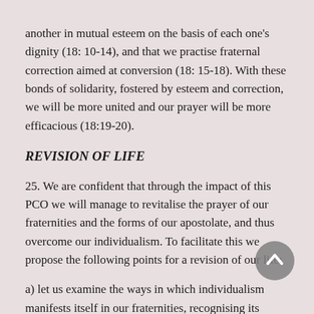another in mutual esteem on the basis of each one's dignity (18: 10-14), and that we practise fraternal correction aimed at conversion (18: 15-18). With these bonds of solidarity, fostered by esteem and correction, we will be more united and our prayer will be more efficacious (18:19-20).
REVISION OF LIFE
25. We are confident that through the impact of this PCO we will manage to revitalise the prayer of our fraternities and the forms of our apostolate, and thus overcome our individualism. To facilitate this we propose the following points for a revision of our life:
a) let us examine the ways in which individualism manifests itself in our fraternities, recognising its
[Figure (other): A circular grey scroll-to-top button with a white upward-pointing chevron arrow icon]